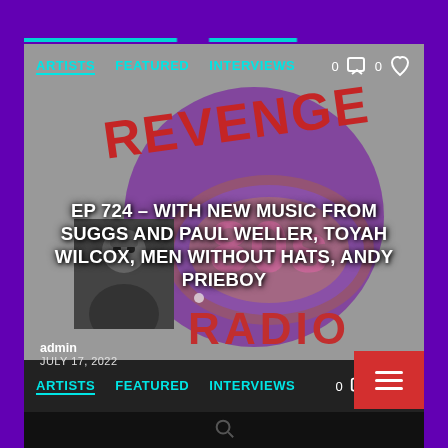[Figure (screenshot): Revenge 80s Radio website screenshot showing a card with nav links ARTISTS, FEATURED, INTERVIEWS, comment and heart icons with count 0, and article title EP 724 – WITH NEW MUSIC FROM SUGGS AND PAUL WELLER, TOYAH WILCOX, MEN WITHOUT HATS, ANDY PRIEBOY, with admin author and JULY 17, 2022 date, on purple background with cyan accent bars and a second nav bar at bottom.]
ARTISTS   FEATURED   INTERVIEWS   0   0
EP 724 – WITH NEW MUSIC FROM SUGGS AND PAUL WELLER, TOYAH WILCOX, MEN WITHOUT HATS, ANDY PRIEBOY
admin
JULY 17, 2022
ARTISTS   FEATURED   INTERVIEWS   0   0